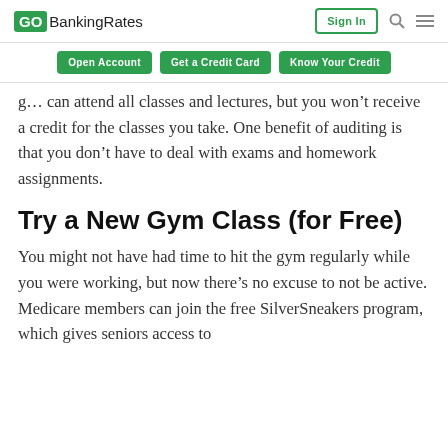GOBankingRates | Sign In
Open Account | Get a Credit Card | Know Your Credit
g... can attend all classes and lectures, but you won't receive a credit for the classes you take. One benefit of auditing is that you don't have to deal with exams and homework assignments.
Try a New Gym Class (for Free)
You might not have had time to hit the gym regularly while you were working, but now there's no excuse to not be active. Medicare members can join the free SilverSneakers program, which gives seniors access to